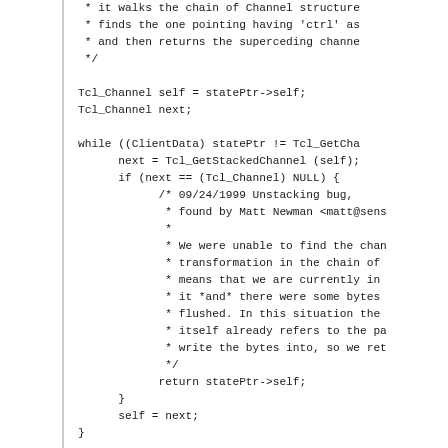[Figure (screenshot): Source code snippet in monospace font showing C code for a channel superceding function, including variable declarations, a while loop with nested if statement, comments about an unstacking bug, and return statements.]